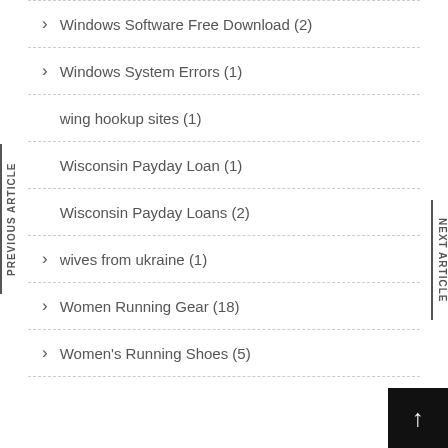Windows Software Free Download (2)
Windows System Errors (1)
wing hookup sites (1)
Wisconsin Payday Loan (1)
Wisconsin Payday Loans (2)
wives from ukraine (1)
Women Running Gear (18)
Women's Running Shoes (5)